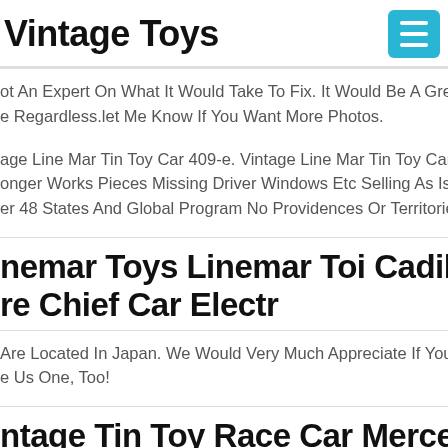Vintage Toys
ot An Expert On What It Would Take To Fix. It Would Be A Great Disp e Regardless.let Me Know If You Want More Photos.
age Line Mar Tin Toy Car 409-e. Vintage Line Mar Tin Toy Car 409-e onger Works Pieces Missing Driver Windows Etc Selling As Is. Ships er 48 States And Global Program No Providences Or Territories.
nemar Toys Linemar Toi Cadillac re Chief Car Electr
Are Located In Japan. We Would Very Much Appreciate If You Could e Us One, Too!
ntage Tin Toy Race Car Mercedes pan Linemar Toys 1950's